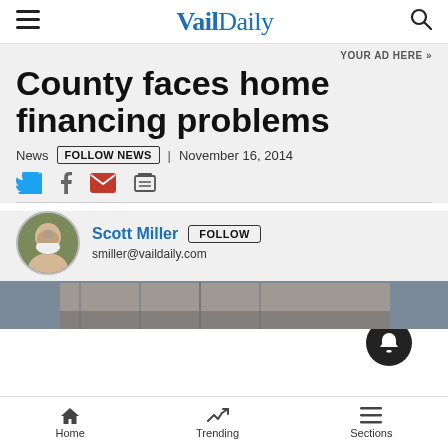VailDaily
YOUR AD HERE »
County faces home financing problems
News | FOLLOW NEWS | November 16, 2014
[Figure (other): Social share icons: Twitter, Facebook, Email, Print]
Scott Miller  FOLLOW
smiller@vaildaily.com
[Figure (photo): Partial photo of a building/home structure visible at bottom]
Home   Trending   Sections